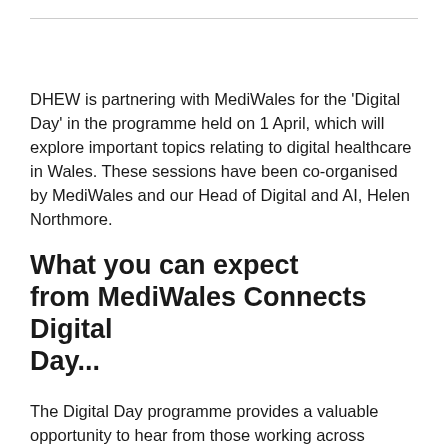DHEW is partnering with MediWales for the 'Digital Day' in the programme held on 1 April, which will explore important topics relating to digital healthcare in Wales. These sessions have been co-organised by MediWales and our Head of Digital and AI, Helen Northmore.
What you can expect from MediWales Connects Digital Day...
The Digital Day programme provides a valuable opportunity to hear from those working across